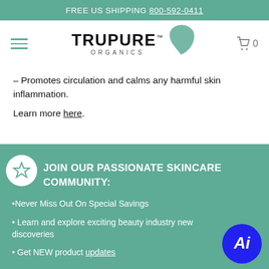FREE US SHIPPING 800-592-0411
[Figure (logo): TruPure Organics logo with leaf graphic and hamburger menu, cart icon]
– Promotes circulation and calms any harmful skin inflammation.
Learn more here.
JOIN OUR PASSIONATE SKINCARE COMMUNITY:
•Never Miss Out On Special Savings
• Learn and explore exciting beauty industry new discoveries
• Get NEW product updates